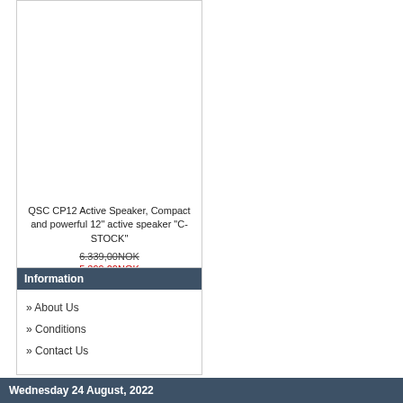[Figure (photo): Product image area for QSC CP12 Active Speaker (white/empty area)]
QSC CP12 Active Speaker, Compact and powerful 12" active speaker "C-STOCK"
6.339,00NOK
5.399,00NOK
Information
» About Us
» Conditions
» Contact Us
Wednesday 24 August, 2022